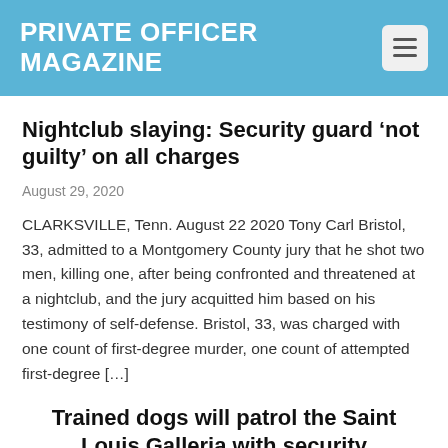PRIVATE OFFICER MAGAZINE
Nightclub slaying: Security guard ‘not guilty’ on all charges
August 29, 2020
CLARKSVILLE, Tenn. August 22 2020 Tony Carl Bristol, 33, admitted to a Montgomery County jury that he shot two men, killing one, after being confronted and threatened at a nightclub, and the jury acquitted him based on his testimony of self-defense. Bristol, 33, was charged with one count of first-degree murder, one count of attempted first-degree […]
Trained dogs will patrol the Saint Louis Galleria with security